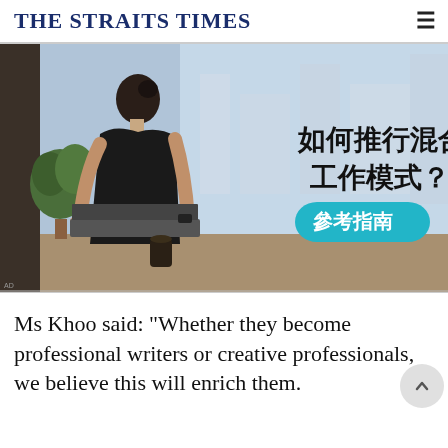THE STRAITS TIMES
[Figure (photo): Advertisement photo of a woman working on a laptop at a modern workspace with Chinese text reading '如何推行混合工作模式？' and a teal button reading '參考指南']
Ms Khoo said: "Whether they become professional writers or creative professionals, we believe this will enrich them.